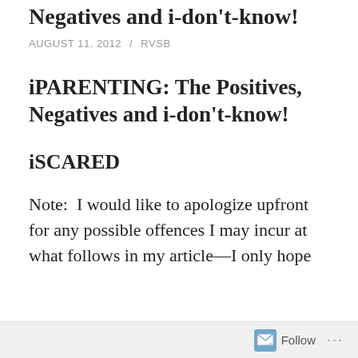iPARENTING: The Positives, Negatives and i-don't-know!
AUGUST 11, 2012 / RVSB
iPARENTING: The Positives, Negatives and i-don't-know!
iSCARED
Note:  I would like to apologize upfront for any possible offences I may incur at what follows in my article—I only hope
Follow ...